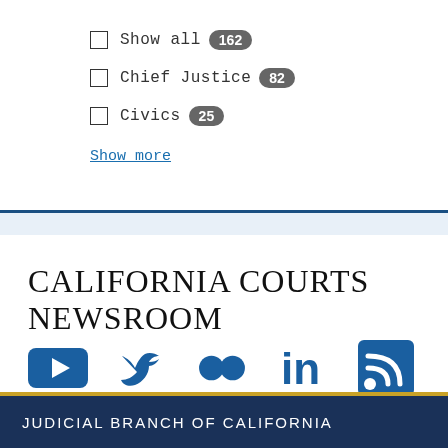Show all 162
Chief Justice 82
Civics 25
Show more
CALIFORNIA COURTS NEWSROOM
[Figure (infographic): Social media icons row: YouTube, Twitter, Flickr, LinkedIn, RSS feed]
JUDICIAL BRANCH OF CALIFORNIA